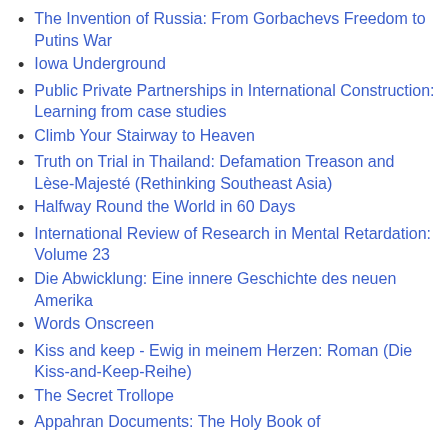The Invention of Russia: From Gorbachevs Freedom to Putins War
Iowa Underground
Public Private Partnerships in International Construction: Learning from case studies
Climb Your Stairway to Heaven
Truth on Trial in Thailand: Defamation Treason and Lèse-Majesté (Rethinking Southeast Asia)
Halfway Round the World in 60 Days
International Review of Research in Mental Retardation: Volume 23
Die Abwicklung: Eine innere Geschichte des neuen Amerika
Words Onscreen
Kiss and keep - Ewig in meinem Herzen: Roman (Die Kiss-and-Keep-Reihe)
The Secret Trollope
Appahran Documents: The Holy Book of